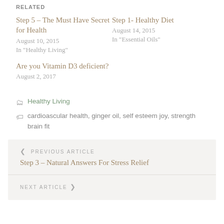RELATED
Step 5 – The Must Have Secret for Health
August 10, 2015
In "Healthy Living"
Step 1- Healthy Diet
August 14, 2015
In "Essential Oils"
Are you Vitamin D3 deficient?
August 2, 2017
Healthy Living
cardioascular health, ginger oil, self esteem joy, strength brain fit
PREVIOUS ARTICLE
Step 3 – Natural Answers For Stress Relief
NEXT ARTICLE